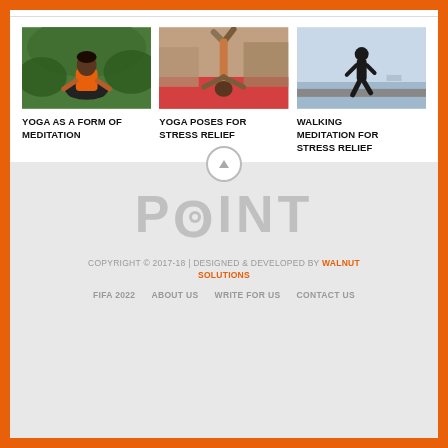[Figure (photo): Woman in orange shirt sitting in meditation pose outdoors among trees]
[Figure (photo): Person doing an inverted yoga pose on a mat outdoors]
[Figure (photo): Silhouette of person walking on a beach/waterfront]
YOGA AS A FORM OF MEDITATION
YOGA POSES FOR STRESS RELIEF
WALKING MEDITATION FOR STRESS RELIEF
POINT
COPYRIGHT © 2017-18 | DESIGNED & DEVELOPED BY WALNUT SOLUTIONS
FIFA 2022   ABOUT US   WRITE FOR US   CONTACT US